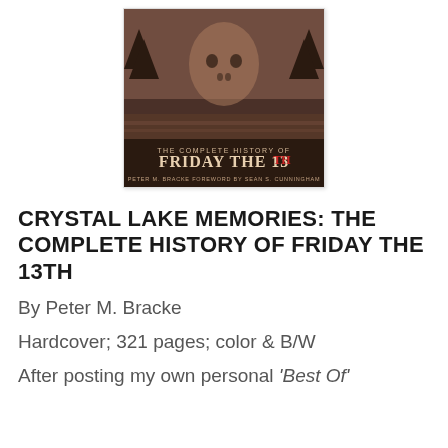[Figure (photo): Book cover of 'The Complete History of Friday the 13th' (Crystal Lake Memories) by Peter M. Bracke, foreword by Sean S. Cunningham. Sepia-toned image of Jason's hockey mask against a dark, foggy lake background. Title text in horror-style lettering.]
CRYSTAL LAKE MEMORIES: THE COMPLETE HISTORY OF FRIDAY THE 13TH
By Peter M. Bracke
Hardcover; 321 pages; color & B/W
After posting my own personal 'Best Of'